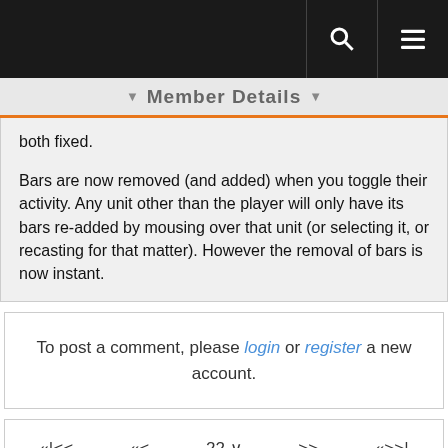Member Details
both fixed.
Bars are now removed (and added) when you toggle their activity. Any unit other than the player will only have its bars re-added by mousing over that unit (or selecting it, or recasting for that matter). However the removal of bars is now instant.
To post a comment, please login or register a new account.
«|<< << 22 >> «>>|
Forums ► General AddOns